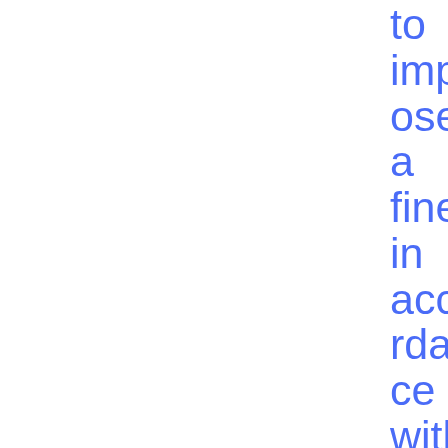to impose a fine in accordance with Statement of Findings in accordance with Articles